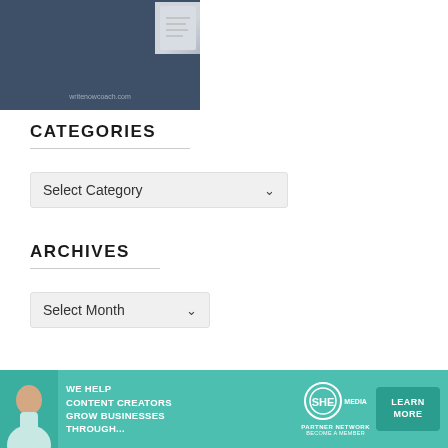[Figure (screenshot): Partial screenshot of a website with dark blue/slate background showing writenowcoach.com URL and a small polaroid-style image in the upper right corner]
CATEGORIES
[Figure (screenshot): Select Category dropdown box with down arrow]
ARCHIVES
[Figure (screenshot): Select Month dropdown box with down arrow]
[Figure (infographic): SHE Media Partner Network advertisement banner in teal/green color. Text reads: WE HELP CONTENT CREATORS GROW BUSINESSES THROUGH... with LEARN MORE button. Shows SHE logo and BECOME A MEMBER text.]